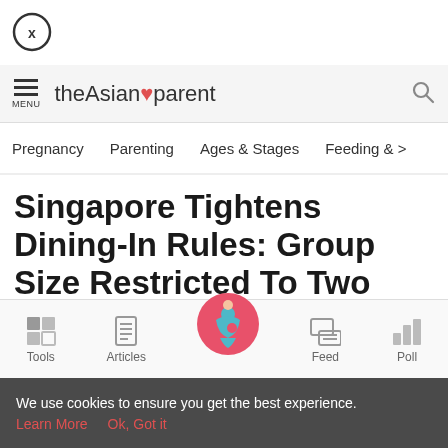[Figure (logo): Close button with X in a circle]
theAsianparent
Pregnancy   Parenting   Ages & Stages   Feeding &  >
Singapore Tightens Dining-In Rules: Group Size Restricted To Two Persons From July 19
[Figure (infographic): Bottom navigation tab bar with Tools, Articles, center pregnant woman icon, Feed, Poll]
We use cookies to ensure you get the best experience. Learn More  Ok, Got it